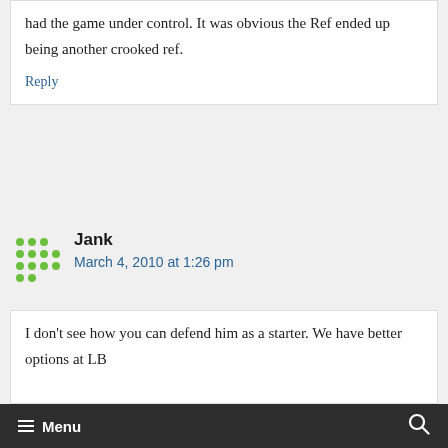had the game under control. It was obvious the Ref ended up being another crooked ref.
Reply
Jank
March 4, 2010 at 1:26 pm
I don't see how you can defend him as a starter. We have better options at LB
Menu